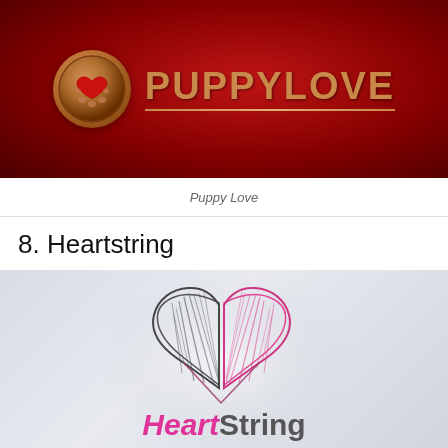[Figure (logo): PuppyLove logo on dark red background — circular bronze medallion with red heart and paw prints, beside PUPPYLOVE text in bronze uppercase with underline]
Puppy Love
8. Heartstring
[Figure (logo): HeartString logo on light grey background — sketchy/scribbled heart shape split into dark grey left half and pink right half, with 'Heart' in pink cursive and 'String' in dark grey below]